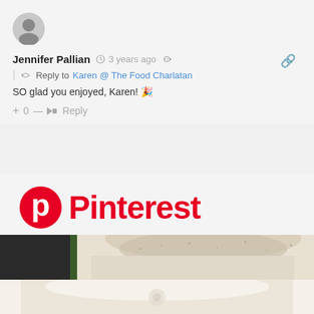[Figure (other): Gray circular avatar/profile icon placeholder]
Jennifer Pallian  3 years ago  | Reply to Karen @ The Food Charlatan
SO glad you enjoyed, Karen! 🎉
+ 0 — Reply
[Figure (logo): Pinterest logo — red P-in-circle icon with 'Pinterest' in red bold text]
[Figure (photo): Food photo showing a white bowl with a powdered/dusted round item, partially visible, dark background on left with green element]